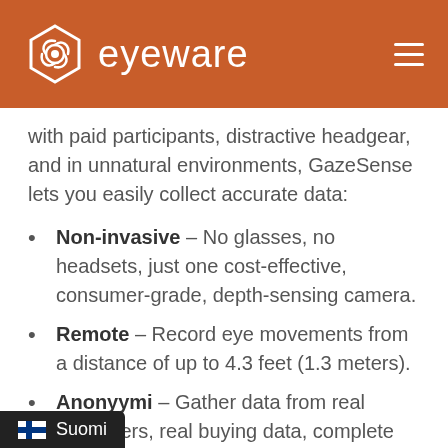[Figure (logo): Eyeware logo with hexagonal swirl icon and text 'eyeware' in white on orange/brown header background]
with paid participants, distractive headgear, and in unnatural environments, GazeSense lets you easily collect accurate data:
Non-invasive – No glasses, no headsets, just one cost-effective, consumer-grade, depth-sensing camera.
Remote – Record eye movements from a distance of up to 4.3 feet (1.3 meters).
Anonyymi – Gather data from real customers, real buying data, complete anonymity, all in compliance with GDPR.